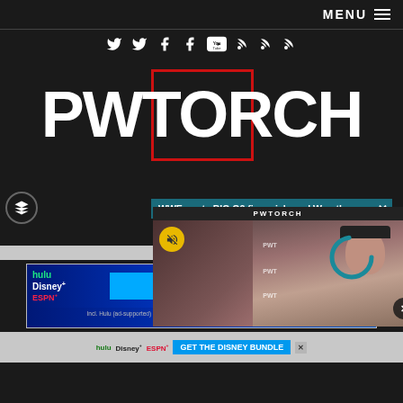MENU
[Figure (infographic): Social media icons bar: Twitter, Twitter, Facebook, Facebook, YouTube, RSS, RSS, RSS]
PWTORCH
WWE posts BIG Q2 financials and Wrestl... ×
[Figure (screenshot): Video popup with PWTORCH label, mute button, loading spinner, man in black cap thumbnail, close button]
[Figure (infographic): Disney Bundle advertisement: hulu, Disney+, ESPN+, GET THE DISNEY BUNDLE, Incl. Hulu (ad-supported) or Hulu (No Ads). Access content from each service separately. ©2021 Disney and its related entities]
[Figure (infographic): Second Disney Bundle ad strip at bottom: hulu, Disney+, ESPN+, GET THE DISNEY BUNDLE, close button]